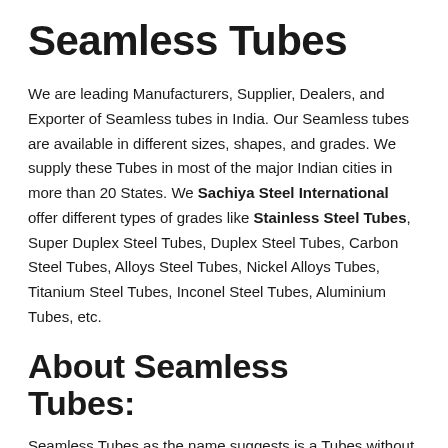Seamless Tubes
We are leading Manufacturers, Supplier, Dealers, and Exporter of Seamless tubes in India. Our Seamless tubes are available in different sizes, shapes, and grades. We supply these Tubes in most of the major Indian cities in more than 20 States. We Sachiya Steel International offer different types of grades like Stainless Steel Tubes, Super Duplex Steel Tubes, Duplex Steel Tubes, Carbon Steel Tubes, Alloys Steel Tubes, Nickel Alloys Tubes, Titanium Steel Tubes, Inconel Steel Tubes, Aluminium Tubes, etc.
About Seamless Tubes:
Seamless Tubes as the name suggests is a Tubes without a